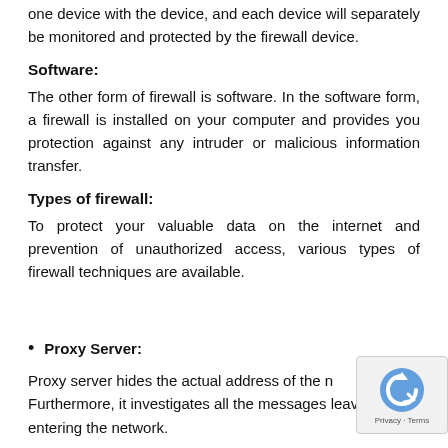one device with the device, and each device will separately be monitored and protected by the firewall device.
Software:
The other form of firewall is software. In the software form, a firewall is installed on your computer and provides you protection against any intruder or malicious information transfer.
Types of firewall:
To protect your valuable data on the internet and prevention of unauthorized access, various types of firewall techniques are available.
Proxy Server:
Proxy server hides the actual address of the n… Furthermore, it investigates all the messages leav… entering the network.